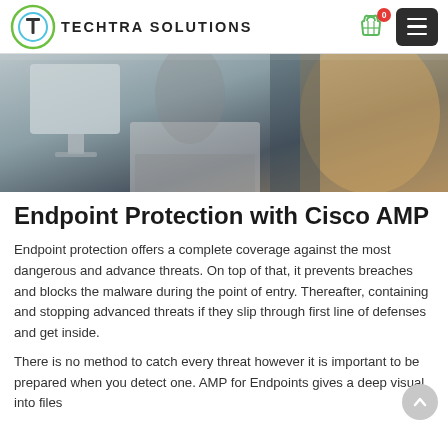TECHTRA SOLUTIONS
[Figure (photo): Two people working at a computer desk, one typing on a keyboard, office environment, photo cropped at the top]
Endpoint Protection with Cisco AMP
Endpoint protection offers a complete coverage against the most dangerous and advance threats. On top of that, it prevents breaches and blocks the malware during the point of entry. Thereafter, containing and stopping advanced threats if they slip through first line of defenses and get inside.
There is no method to catch every threat however it is important to be prepared when you detect one. AMP for Endpoints gives a deep visual into files